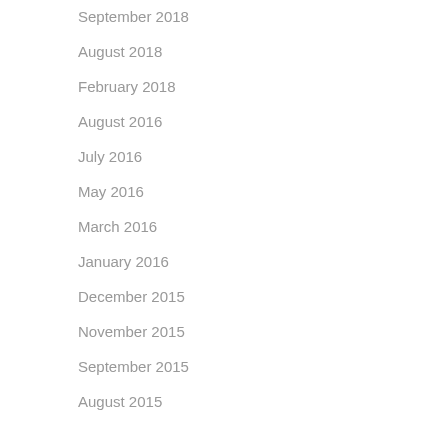September 2018
August 2018
February 2018
August 2016
July 2016
May 2016
March 2016
January 2016
December 2015
November 2015
September 2015
August 2015